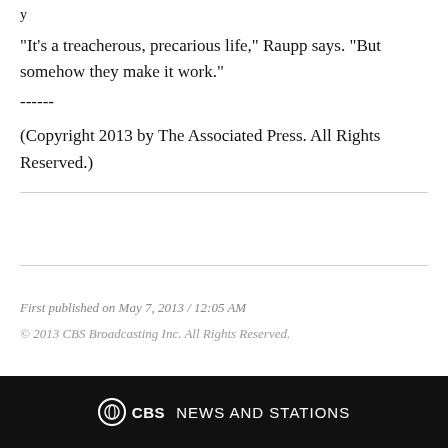"It's a treacherous, precarious life," Raupp says. "But somehow they make it work."
------
(Copyright 2013 by The Associated Press. All Rights Reserved.)
First published on May 7, 2013 / 12:05 AM
© 2013 CBS Broadcasting Inc. All Rights Reserved.
CBS NEWS AND STATIONS